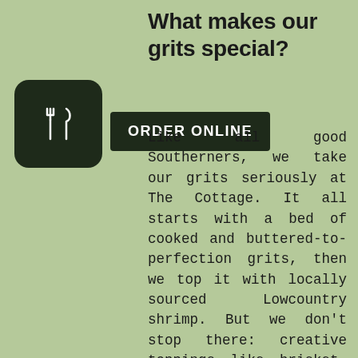What makes our grits special?
[Figure (illustration): Dark green rounded square icon with white fork and knife utensils]
ORDER ONLINE
Like all good Southerners, we take our grits seriously at The Cottage. It all starts with a bed of cooked and buttered-to-perfection grits, then we top it with locally sourced Lowcountry shrimp. But we don't stop there: creative toppings like brisket, pimento cheese, and bacon have made our Shrimp and Grits stand out at the Beaufort Shrimp Festival and other food competitions.
Foodies know that the best part of traveling is eating like a local. If you're visiting the